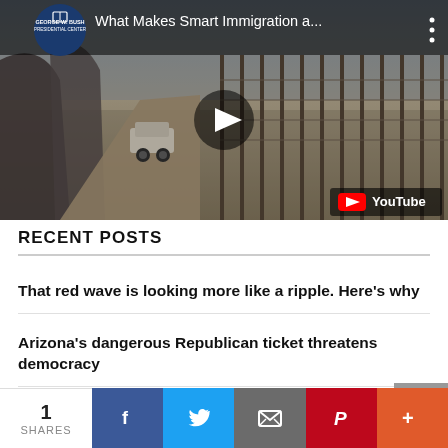[Figure (screenshot): YouTube video thumbnail showing a border wall/fence scene with a vehicle driving along it. Video title reads 'What Makes Smart Immigration a...' with George W. Bush Presidential Center branding. Play button overlay visible. YouTube logo in bottom-right corner.]
RECENT POSTS
That red wave is looking more like a ripple. Here's why
Arizona's dangerous Republican ticket threatens democracy
Under fire over outreach efforts, House Democrats
1 SHARES | Facebook | Twitter | Email | Pinterest | More